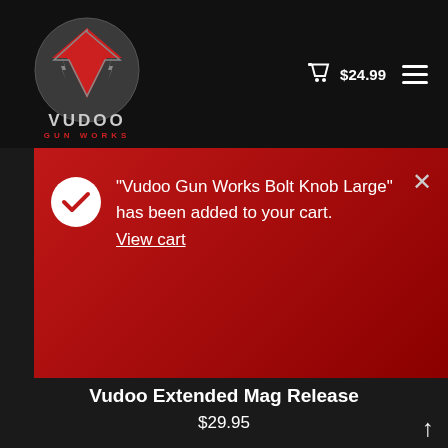[Figure (logo): Vudoo Gun Works logo — red stylized V with star, grey circular background, text VUDOO GUN WORKS below]
$24.99
[Figure (photo): Product photo showing a curved tan/beige and white object (magazine release component) on a light background]
"Vudoo Gun Works Bolt Knob Large" has been added to your cart. View cart
Vudoo Extended Mag Release
$29.95